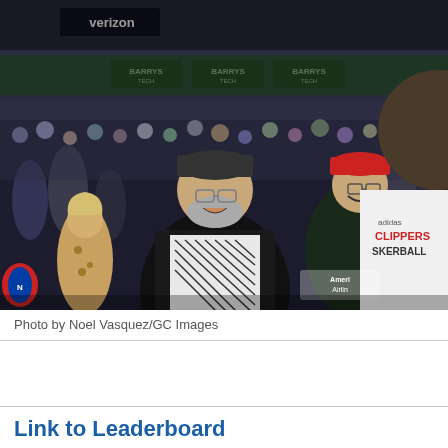[Figure (photo): Photo taken at a basketball arena showing two men laughing and talking on the court sideline. The man on the left wears a black blazer over a black-and-white geometric print t-shirt and a dark cap. The man on the right wears a white Los Angeles Clippers basketball warm-up shirt with adidas branding. A third man in a dark hoodie with a red cap stands smiling in the background. Arena signage including 'Verizon' and 'Barrys' is visible along with a crowd of spectators. American Airlines branding is partially visible.]
Photo by Noel Vasquez/GC Images
Link to Leaderboard